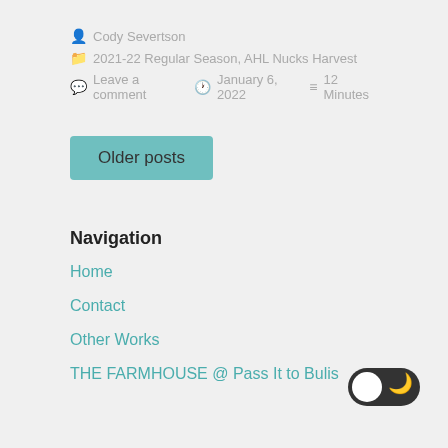Cody Severtson
2021-22 Regular Season, AHL Nucks Harvest
Leave a comment  January 6, 2022  12 Minutes
Older posts
Navigation
Home
Contact
Other Works
THE FARMHOUSE @ Pass It to Bulis